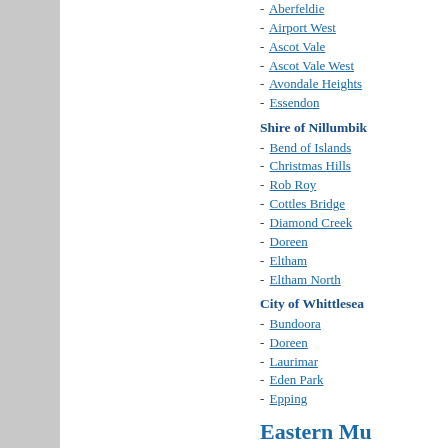- Aberfeldie
- Airport West
- Ascot Vale
- Ascot Vale West
- Avondale Heights
- Essendon
Shire of Nillumbik
- Bend of Islands
- Christmas Hills
- Rob Roy
- Cottles Bridge
- Diamond Creek
- Doreen
- Eltham
- Eltham North
City of Whittlesea
- Bundoora
- Doreen
- Laurimar
- Eden Park
- Epping
Eastern Mu
City of Boroonda
- Ashburton
- Balwyn
- Deepdene
- Balwyn North
- Bellevu...